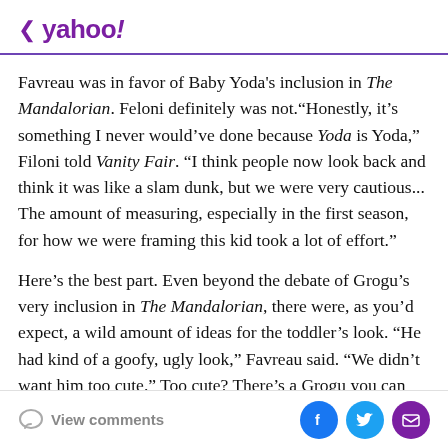< yahoo!
Favreau was in favor of Baby Yoda's inclusion in The Mandalorian. Feloni definitely was not.“Honestly, it’s something I never would’ve done because Yoda is Yoda,” Filoni told Vanity Fair. “I think people now look back and think it was like a slam dunk, but we were very cautious... The amount of measuring, especially in the first season, for how we were framing this kid took a lot of effort.”
Here’s the best part. Even beyond the debate of Grogu’s very inclusion in The Mandalorian, there were, as you’d expect, a wild amount of ideas for the toddler’s look. “He had kind of a goofy, ugly look,” Favreau said. “We didn’t want him too cute.” Too cute? There’s a Grogu you can
View comments